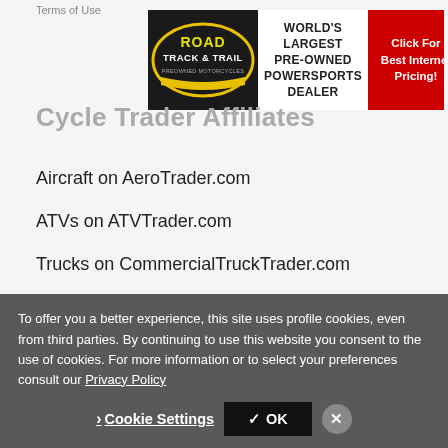Terms of Use
[Figure (other): Road Track & Trail advertisement banner: logo on dark background, center text 'WORLD'S LARGEST PRE-OWNED POWERSPORTS DEALER', red button 'Click For Best Internet Pricing!']
Cycle Trader Affiliates
Aircraft on AeroTrader.com
ATVs on ATVTrader.com
Trucks on CommercialTruckTrader.com
Equipment on EquipmentTrader.com
PWCs on PWCTrader.com
RVs on RVTrader.com
Snowmobiles on SnowmobileTrader.com
To offer you a better experience, this site uses profile cookies, even from third parties. By continuing to use this website you consent to the use of cookies. For more information or to select your preferences consult our Privacy Policy